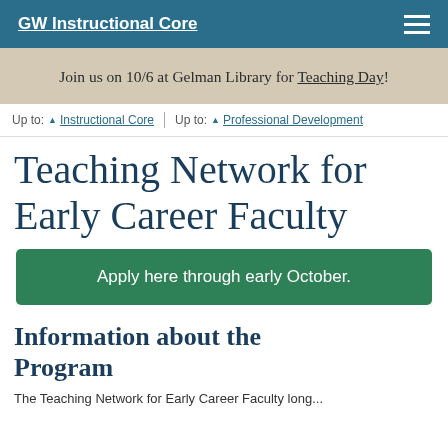GW Instructional Core
Join us on 10/6 at Gelman Library for Teaching Day!
Up to: ▲ Instructional Core | Up to: ▲ Professional Development
Teaching Network for Early Career Faculty
Apply here through early October.
Information about the Program
The Teaching Network for Early Career Faculty long...